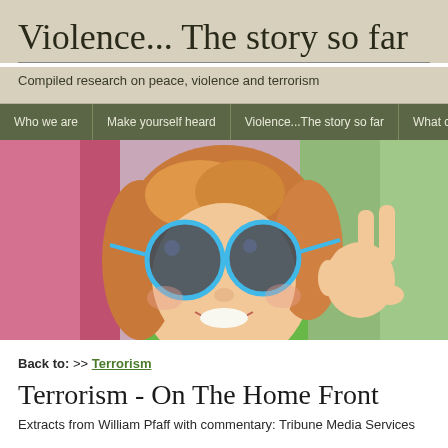Violence... The story so far
Compiled research on peace, violence and terrorism
Who we are | Make yourself heard | Violence...The story so far | What can w
[Figure (photo): Young woman with red/blonde hair smiling, wearing large round blue-framed sunglasses, making a peace sign with her right hand. She is wearing a green jacket. The background has pink and colorful elements.]
Back to: >> Terrorism
Terrorism - On The Home Front
Extracts from William Pfaff with commentary: Tribune Media Services